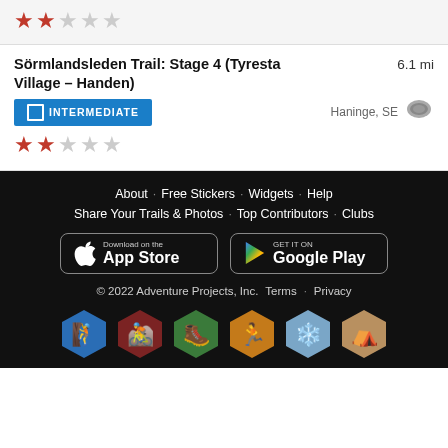[Figure (other): 2 red filled stars and 3 empty grey stars rating (top partial card)]
Sörmlandsleden Trail: Stage 4 (Tyresta Village - Handen)
6.1 mi
INTERMEDIATE
Haninge, SE
[Figure (other): 2 red filled stars and 3 empty grey stars rating]
About · Free Stickers · Widgets · Help
Share Your Trails & Photos · Top Contributors · Clubs
© 2022 Adventure Projects, Inc. Terms · Privacy
[Figure (other): Download on the App Store button]
[Figure (other): Get it on Google Play button]
[Figure (other): Row of 6 activity hexagon icons: climbing (blue), mountain biking (red), hiking (green), trail running (orange), snowshoeing (light blue), camping (tan)]